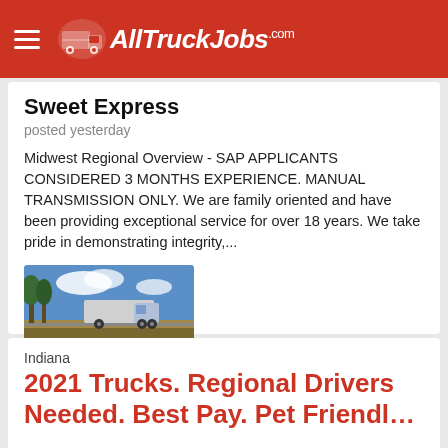AllTruckJobs.com
Sweet Express
posted yesterday
Midwest Regional Overview  - SAP APPLICANTS CONSIDERED 3 MONTHS EXPERIENCE. MANUAL TRANSMISSION ONLY. We are family oriented and have been providing exceptional service for over 18 years. We take pride in demonstrating integrity,...
[Figure (photo): Semi truck driving on highway with trees and sky in background]
Learn More!
Indiana
2021 Trucks. Regional Drivers Needed. Best Pay. Pet Friendly